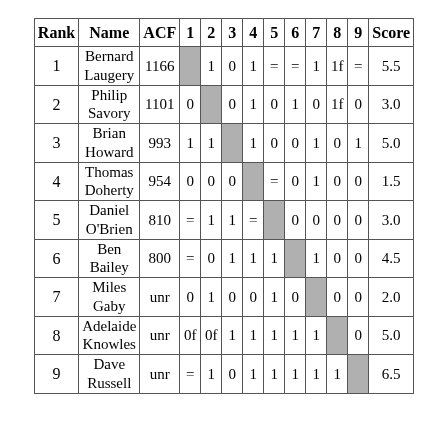| Rank | Name | ACF | 1 | 2 | 3 | 4 | 5 | 6 | 7 | 8 | 9 | Score |
| --- | --- | --- | --- | --- | --- | --- | --- | --- | --- | --- | --- | --- |
| 1 | Bernard Laugery | 1166 |  | 1 | 0 | 1 | = | = | 1 | 1f | = | 5.5 |
| 2 | Philip Savory | 1101 | 0 |  | 0 | 1 | 0 | 1 | 0 | 1f | 0 | 3.0 |
| 3 | Brian Howard | 993 | 1 | 1 |  | 1 | 0 | 0 | 1 | 0 | 1 | 5.0 |
| 4 | Thomas Doherty | 954 | 0 | 0 | 0 |  | = | 0 | 1 | 0 | 0 | 1.5 |
| 5 | Daniel O'Brien | 810 | = | 1 | 1 | = |  | 0 | 0 | 0 | 0 | 3.0 |
| 6 | Ben Bailey | 800 | = | 0 | 1 | 1 | 1 |  | 1 | 0 | 0 | 4.5 |
| 7 | Miles Gaby | unr | 0 | 1 | 0 | 0 | 1 | 0 |  | 0 | 0 | 2.0 |
| 8 | Adelaide Knowles | unr | 0f | 0f | 1 | 1 | 1 | 1 | 1 |  | 0 | 5.0 |
| 9 | Dave Russell | unr | = | 1 | 0 | 1 | 1 | 1 | 1 | 1 |  | 6.5 |